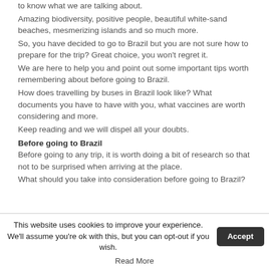to know what we are talking about.
Amazing biodiversity, positive people, beautiful white-sand beaches, mesmerizing islands and so much more.
So, you have decided to go to Brazil but you are not sure how to prepare for the trip? Great choice, you won't regret it.
We are here to help you and point out some important tips worth remembering about before going to Brazil.
How does travelling by buses in Brazil look like? What documents you have to have with you, what vaccines are worth considering and more.
Keep reading and we will dispel all your doubts.
Before going to Brazil
Before going to any trip, it is worth doing a bit of research so that not to be surprised when arriving at the place.
What should you take into consideration before going to Brazil?
Vaccines
This website uses cookies to improve your experience. We'll assume you're ok with this, but you can opt-out if you wish.
Read More